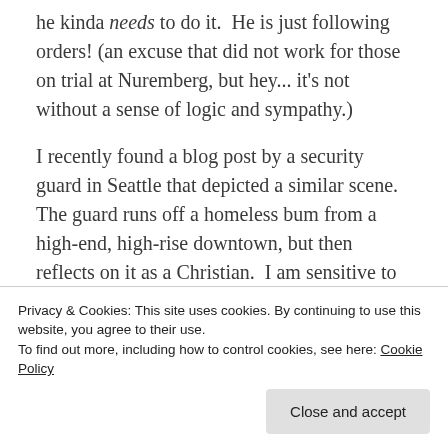he kinda needs to do it. He is just following orders! (an excuse that did not work for those on trial at Nuremberg, but hey... it's not without a sense of logic and sympathy.)
I recently found a blog post by a security guard in Seattle that depicted a similar scene. The guard runs off a homeless bum from a high-end, high-rise downtown, but then reflects on it as a Christian. I am sensitive to
Privacy & Cookies: This site uses cookies. By continuing to use this website, you agree to their use.
To find out more, including how to control cookies, see here: Cookie Policy
splintered into bug chunks on a windshield